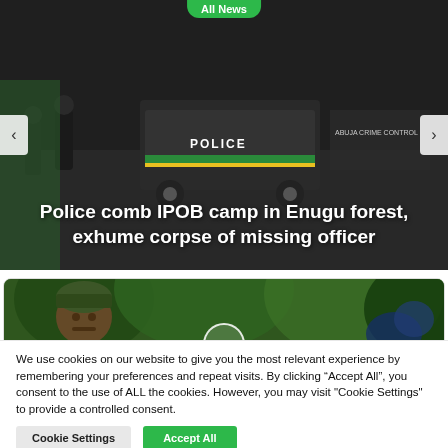[Figure (photo): Hero news slider showing police vehicles and officers on a road, with 'All News' green tab at top and navigation arrows on sides]
Police comb IPOB camp in Enugu forest, exhume corpse of missing officer
[Figure (photo): Article card image showing a soldier in camouflage gear in a green forest setting, with a play button circle overlay at the bottom center]
We use cookies on our website to give you the most relevant experience by remembering your preferences and repeat visits. By clicking “Accept All”, you consent to the use of ALL the cookies. However, you may visit "Cookie Settings" to provide a controlled consent.